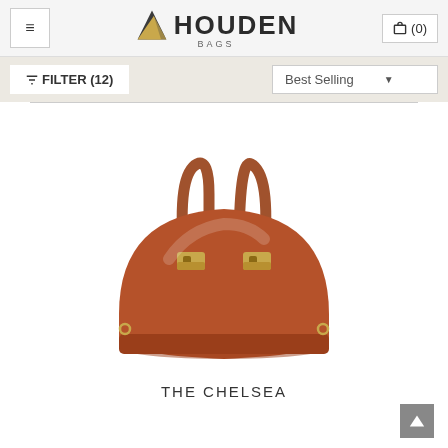HOUDEN BAGS — navigation header with menu button and cart (0)
FILTER (12)   Best Selling
[Figure (photo): A brown leather dome-shaped handbag (The Chelsea) with two top handles and gold hardware, photographed on a white background.]
THE CHELSEA